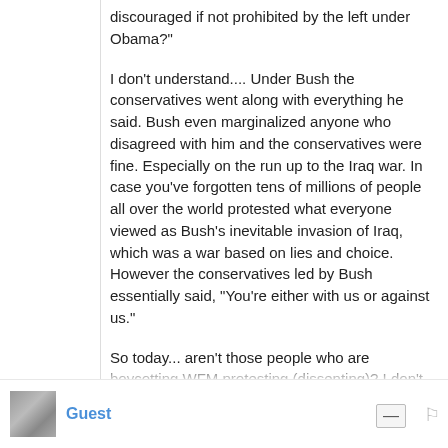discouraged if not prohibited by the left under Obama?"
I don't understand.... Under Bush the conservatives went along with everything he said. Bush even marginalized anyone who disagreed with him and the conservatives were fine. Especially on the run up to the Iraq war. In case you've forgotten tens of millions of people all over the world protested what everyone viewed as Bush's inevitable invasion of Iraq, which was a war based on lies and choice. However the conservatives led by Bush essentially said, "You're either with us or against us."
So today... aren't those people who are boycotting WFM protesting (dissenting)? I don't see Obama either supporting or opposing the right of individuals to take their business elsewhere if they don't like something
see more
Guest